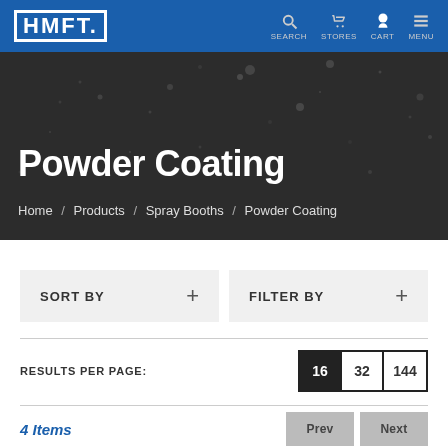HMFT. SEARCH STORES CART MENU
Powder Coating
Home / Products / Spray Booths / Powder Coating
SORT BY +
FILTER BY +
RESULTS PER PAGE: 16 32 144
4 Items
Prev  Next